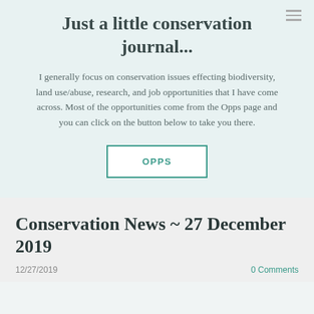Just a little conservation journal...
I generally focus on conservation issues effecting biodiversity, land use/abuse, research, and job opportunities that I have come across. Most of the opportunities come from the Opps page and you can click on the button below to take you there.
[Figure (other): OPPS button — a rectangular outlined button with teal border and teal text reading 'OPPS']
Conservation News ~ 27 December 2019
12/27/2019
0 Comments